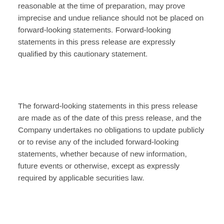reasonable at the time of preparation, may prove imprecise and undue reliance should not be placed on forward-looking statements. Forward-looking statements in this press release are expressly qualified by this cautionary statement.
The forward-looking statements in this press release are made as of the date of this press release, and the Company undertakes no obligations to update publicly or to revise any of the included forward-looking statements, whether because of new information, future events or otherwise, except as expressly required by applicable securities law.